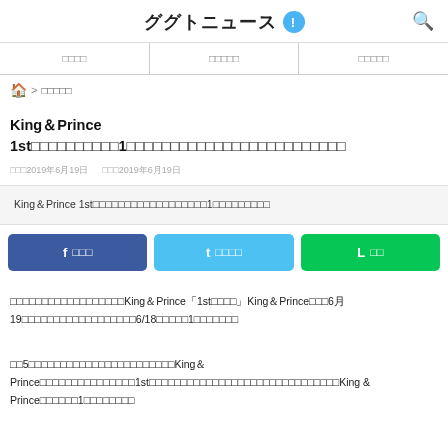ググトニュース
| □□□□ | □□□□□ | □□□□□ |
| --- | --- | --- |
🏠 > □□□□□
King＆Prince 1st□□□□□□□□□□1□□□□□□□□□□□□□□□□□□□□□□□□□
□□□2019年6月19日　□□□2019年6月19日
King＆Prince 1st□□□□□□□□□□□□□□□□□□1□□□□□□□□□
□ □□□　□ □□□□　□ □□
□□□□□□□□□□□□□□□□□□King＆Prince「1st□□□□」King＆Prince□□□6月19□□□□□□□□□□□□□□□□□□6/18□□□□□1□□□□□□□
□□5□□□□□□□□□□□□□□□□□□□□□□□King＆Prince□□□□□□□□□□□□□□□1st□□□□□□□□□□□□□□□□□□□□□□□□□□□□□□King & Prince□□□□□□1□□□□□□□□